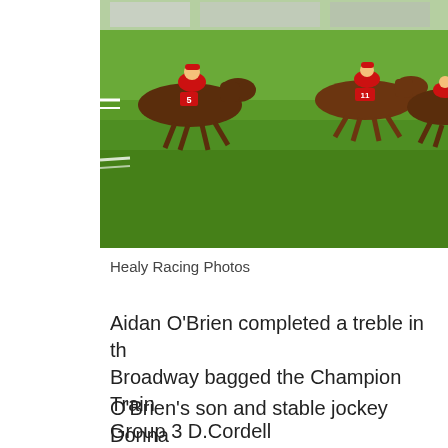[Figure (photo): Horse racing photo showing multiple horses with jockeys racing on a grass track, taken by Healy Racing Photos]
Healy Racing Photos
Aidan O'Brien completed a treble in th... Broadway bagged the Champion Train... Group 3 D.Cordell Lavarack/Lanwade...
O'Brien's son and stable jockey Donna... winners but had sided with brother Jos...